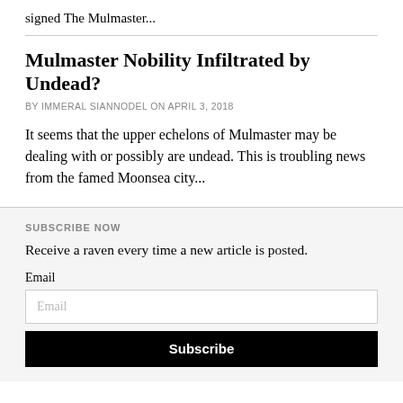signed The Mulmaster...
Mulmaster Nobility Infiltrated by Undead?
BY IMMERAL SIANNODEL ON APRIL 3, 2018
It seems that the upper echelons of Mulmaster may be dealing with or possibly are undead. This is troubling news from the famed Moonsea city...
SUBSCRIBE NOW
Receive a raven every time a new article is posted.
Email
Email
Subscribe